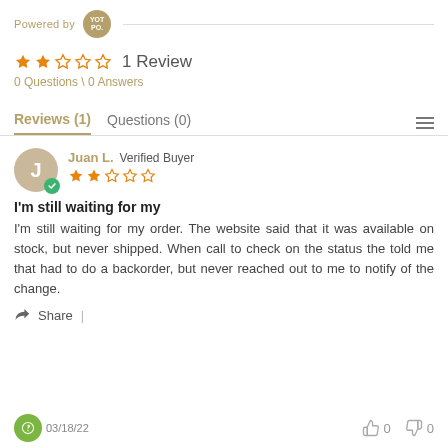[Figure (logo): Powered by Yotpo logo with horizontal line]
★★☆☆☆  1 Review
0 Questions \ 0 Answers
Reviews (1)   Questions (0)
Juan L. Verified Buyer ★★☆☆☆
I'm still waiting for my
I'm still waiting for my order. The website said that it was available on stock, but never shipped. When call to check on the status the told me that had to do a backorder, but never reached out to me to notify of the change.
Share |
03/18/22   👍 0   👎 0